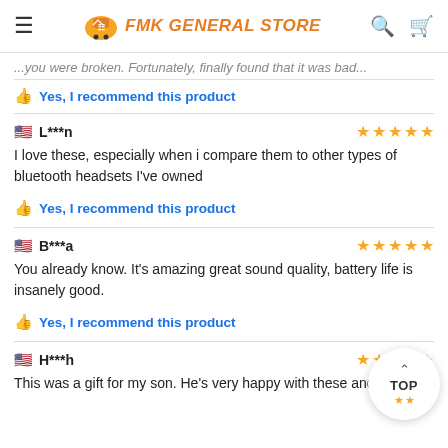FMK GENERAL STORE
...you were broken. Fortunately, finally found that it was bad...
Yes, I recommend this product
L***n — 5 stars
I love these, especially when i compare them to other types of bluetooth headsets I've owned
Yes, I recommend this product
B***a — 5 stars
You already know. It's amazing great sound quality, battery life is insanely good.
Yes, I recommend this product
H***h — stars
This was a gift for my son. He's very happy with these and says the